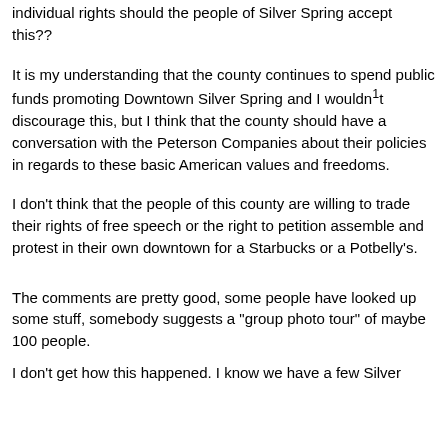individual rights should the people of Silver Spring accept this??
It is my understanding that the county continues to spend public funds promoting Downtown Silver Spring and I wouldn¹t discourage this, but I think that the county should have a conversation with the Peterson Companies about their policies in regards to these basic American values and freedoms.
I don't think that the people of this county are willing to trade their rights of free speech or the right to petition assemble and protest in their own downtown for a Starbucks or a Potbelly's.
The comments are pretty good, some people have looked up some stuff, somebody suggests a "group photo tour" of maybe 100 people.
I don't get how this happened. I know we have a few Silver